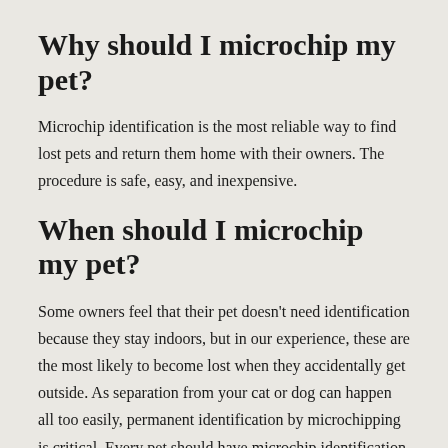Why should I microchip my pet?
Microchip identification is the most reliable way to find lost pets and return them home with their owners. The procedure is safe, easy, and inexpensive.
When should I microchip my pet?
Some owners feel that their pet doesn't need identification because they stay indoors, but in our experience, these are the most likely to become lost when they accidentally get outside. As separation from your cat or dog can happen all too easily, permanent identification by microchipping is critical. Every pet should have microchip identification as the procedure can be done at any age.